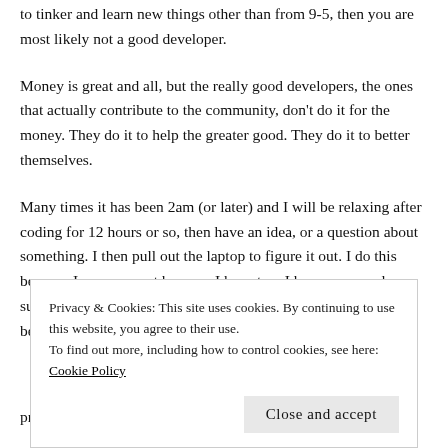to tinker and learn new things other than from 9-5, then you are most likely not a good developer.
Money is great and all, but the really good developers, the ones that actually contribute to the community, don't do it for the money. They do it to help the greater good. They do it to better themselves.
Many times it has been 2am (or later) and I will be relaxing after coding for 12 hours or so, then have an idea, or a question about something. I then pull out the laptop to figure it out. I do this because I am care, not because I have too. I have answered support questions at 4 in the morning, not because I have too, because I genually care
Privacy & Cookies: This site uses cookies. By continuing to use this website, you agree to their use.
To find out more, including how to control cookies, see here: Cookie Policy
Close and accept
profession.